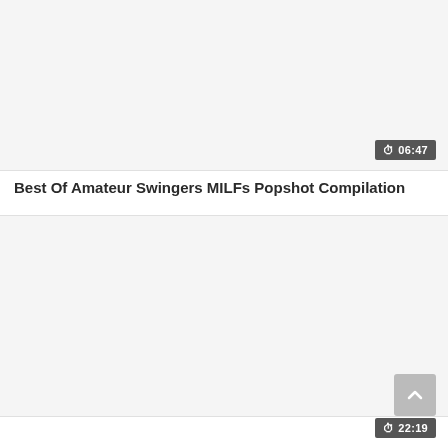[Figure (screenshot): Video thumbnail placeholder (light gray background) for first video]
06:47
Best Of Amateur Swingers MILFs Popshot Compilation
[Figure (screenshot): Video thumbnail placeholder (light gray background) for second video]
22:19